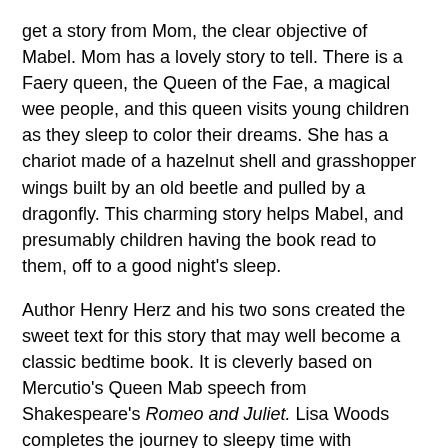get a story from Mom, the clear objective of Mabel. Mom has a lovely story to tell. There is a Faery queen, the Queen of the Fae, a magical wee people, and this queen visits young children as they sleep to color their dreams. She has a chariot made of a hazelnut shell and grasshopper wings built by an old beetle and pulled by a dragonfly. This charming story helps Mabel, and presumably children having the book read to them, off to a good night's sleep.
Author Henry Herz and his two sons created the sweet text for this story that may well become a classic bedtime book. It is cleverly based on Mercutio's Queen Mab speech from Shakespeare's Romeo and Juliet. Lisa Woods completes the journey to sleepy time with enchanting illustrations in quiet colors that assist young readers in finding their way to sleep.
Reviewed By: Rosi Hollinbeck